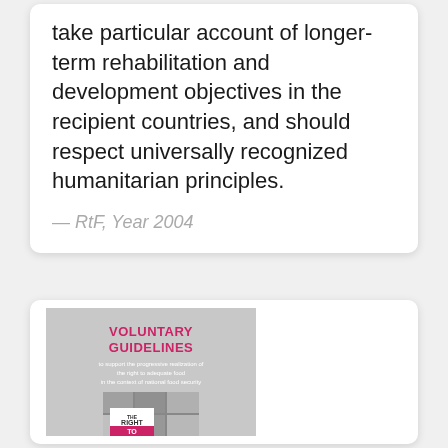take particular account of longer-term rehabilitation and development objectives in the recipient countries, and should respect universally recognized humanitarian principles.
— RtF, Year 2004
[Figure (illustration): Book cover for 'Voluntary Guidelines to support the progressive realization of the right to adequate food in the context of national food security' with subtitle 'THE RIGHT TO' on a grey background with grid of portrait photos.]